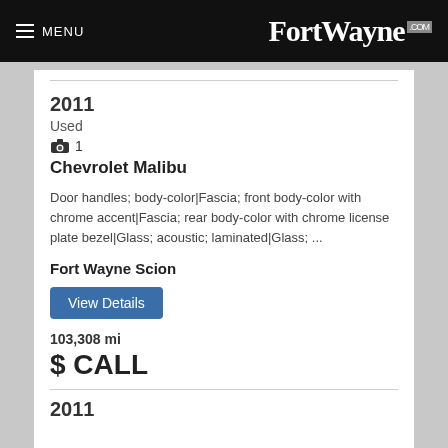MENU  FortWayne.com
2011
Used
1
Chevrolet Malibu
Door handles; body-color|Fascia; front body-color with chrome accent|Fascia; rear body-color with chrome license plate bezel|Glass; acoustic; laminated|Glass; ...
Fort Wayne Scion
View Details
103,308 mi
$ CALL
2011